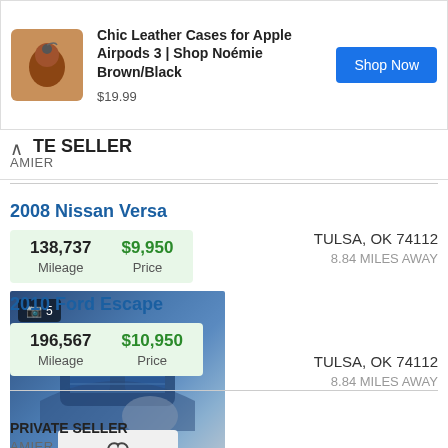[Figure (screenshot): Advertisement banner for Chic Leather Cases for Apple Airpods 3, Shop Noémie Brown/Black, priced at $19.99 with a Shop Now button]
TE SELLER
AMIER
2008 Nissan Versa
| Mileage | Price |
| --- | --- |
| 138,737 | $9,950 |
TULSA, OK 74112
8.84 MILES AWAY
[Figure (photo): Front view of a blue 2008 Nissan Versa with photo count badge showing 5 photos and a heart/favorite button]
PRIVATE SELLER
AMIER
2010 Ford Escape
| Mileage | Price |
| --- | --- |
| 196,567 | $10,950 |
TULSA, OK 74112
8.84 MILES AWAY